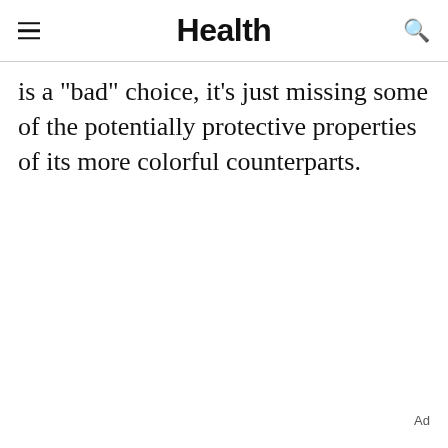Health
is a "bad" choice, it's just missing some of the potentially protective properties of its more colorful counterparts.
Ad